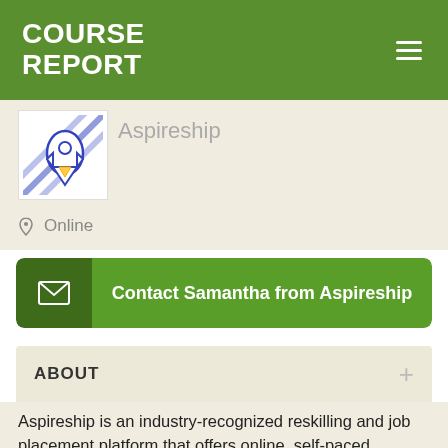COURSE REPORT
[Figure (logo): Aspireship logo icon with stylized rocket/pencil illustration in blue and purple on white background]
Aspireship
Online
Contact Samantha from Aspireship
ABOUT
Aspireship is an industry-recognized reskilling and job placement platform that offers online, self-paced Software as a Service (SaaS) boot camps for sales and customer success roles. Aspireship's programs are self-